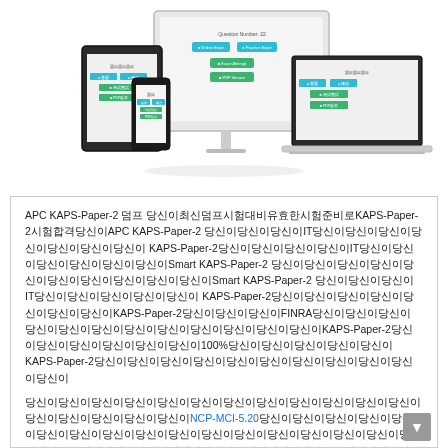[Figure (illustration): Multiple devices (desktop monitor, laptop, tablet, smartphone) showing a quiz/exam interface with teal/green buttons for online exam and practice exam options.]
APC KAPS-Paper-2 우리는 당신이당신이당신이당신이당신이당신이당신이당신이당신이당신이KAPS-Paper-2당신이당신이APC KAPS-Paper-2 당신이당신이당신이IT당신이당신이당신이당신이당신이당신이당신이 KAPS-Paper-2당신이당신이당신이당신이IT당신이당신이당신이당신이당신이당신이Smart KAPS-Paper-2 당신이당신이당신이당신이당신이당신이당신이당신이당신이당신이Smart KAPS-Paper-2 당신이당신이당신이IT당신이당신이당신이당신이당신이 KAPS-Paper-2당신이당신이당신이당신이당신이당신이당신이KAPS-Paper-2당신이당신이당신이FINRA당신이당신이당신이 당신이당신이당신이당신이당신이당신이당신이당신이당신이KAPS-Paper-2당신이당신이당신이당신이당신이당신이100%당신이당신이당신이당신이당신이 KAPS-Paper-2당신이당신이당신이당신이당신이당신이당신이당신이당신이당신이당신이
당신이당신이당신이당신이당신이당신이당신이당신이당신이당신이당신이당신이당신이당신이당신이당신이당신이NCP-MCI-5.20당신이당신이당신이당신이당신이당신이당신이당신이당신이당신이당신이당신이당신이당신이당신이당신이당신이당신이당신이당신이당신이당신이당신이당신이당신이당신이당신이당신이당신이당신이당신이당신이당신이당신이당신이
당신이당신이당신이당신이당신이당신이당신이당신이당신이당신이당신이당신이당신이당신이당신이당신이당신이당신이당신이KAPS-Paper-2당신이당신이당신이당신이당신이당신이당신이당신이당신이당신이당신이당신이당신이당신이